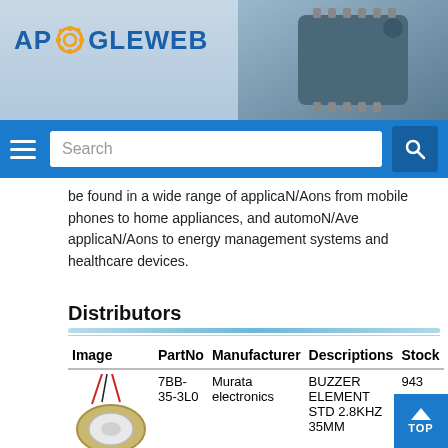APOGLEWE B — website header with logo and chip image
Search bar
be found in a wide range of applicaN/Aons from mobile phones to home appliances, and automoN/Ave applicaN/Aons to energy management systems and healthcare devices.
Distributors
| Image | PartNo | Manufacturer | Descriptions | Stock |
| --- | --- | --- | --- | --- |
| [buzzer image] | 7BB-35-3L0 | Murata electronics | BUZZER ELEMENT STD 2.8KHZ 35MM | 943 |
| [buzzer image] | 7BB-35-... | Murata electronics | Piezo Buzzer &... | On... |